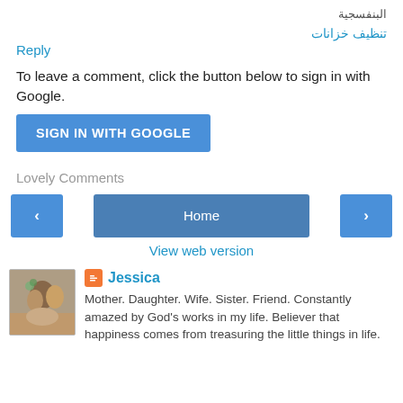البنفسجية
تنظيف خزانات
Reply
To leave a comment, click the button below to sign in with Google.
SIGN IN WITH GOOGLE
Lovely Comments
‹
Home
›
View web version
Jessica
Mother. Daughter. Wife. Sister. Friend. Constantly amazed by God's works in my life. Believer that happiness comes from treasuring the little things in life.